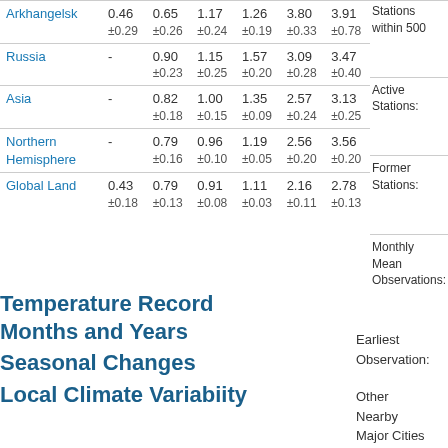| Region | Col1 | Col2 | Col3 | Col4 | Col5 | Col6 |
| --- | --- | --- | --- | --- | --- | --- |
| Arkhangelsk | 0.46
±0.29 | 0.65
±0.26 | 1.17
±0.24 | 1.26
±0.19 | 3.80
±0.33 | 3.91
±0.78 |
| Russia | - | 0.90
±0.23 | 1.15
±0.25 | 1.57
±0.20 | 3.09
±0.28 | 3.47
±0.40 |
| Asia | - | 0.82
±0.18 | 1.00
±0.15 | 1.35
±0.09 | 2.57
±0.24 | 3.13
±0.25 |
| Northern Hemisphere | - | 0.79
±0.16 | 0.96
±0.10 | 1.19
±0.05 | 2.56
±0.20 | 3.56
±0.20 |
| Global Land | 0.43
±0.18 | 0.79
±0.13 | 0.91
±0.08 | 1.11
±0.03 | 2.16
±0.11 | 2.78
±0.13 |
Stations within 500
Active Stations:
Former Stations:
Monthly Mean Observations:
Earliest Observation:
Temperature Record Months and Years
Seasonal Changes
Local Climate Variabiity
Other
Nearby
Major Cities
Moscow